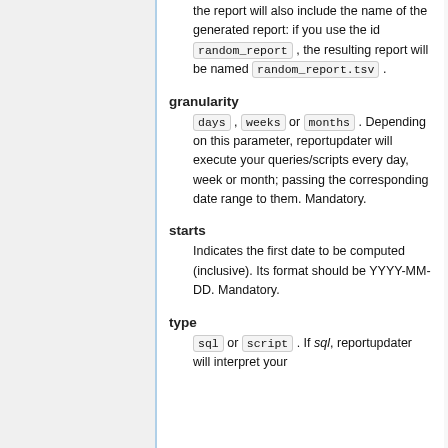the report will also include the name of the generated report: if you use the id random_report , the resulting report will be named random_report.tsv .
granularity
days , weeks or months . Depending on this parameter, reportupdater will execute your queries/scripts every day, week or month; passing the corresponding date range to them. Mandatory.
starts
Indicates the first date to be computed (inclusive). Its format should be YYYY-MM-DD. Mandatory.
type
sql or script . If sql, reportupdater will interpret your queries/scripts as SQL, and if